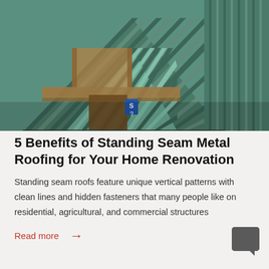[Figure (photo): Close-up photo of green/teal standing seam metal roofing panels on a building with wooden structural elements visible, showing triangular gable roof shapes and vertical seam patterns.]
5 Benefits of Standing Seam Metal Roofing for Your Home Renovation
Standing seam roofs feature unique vertical patterns with clean lines and hidden fasteners that many people like on residential, agricultural, and commercial structures
Read more →